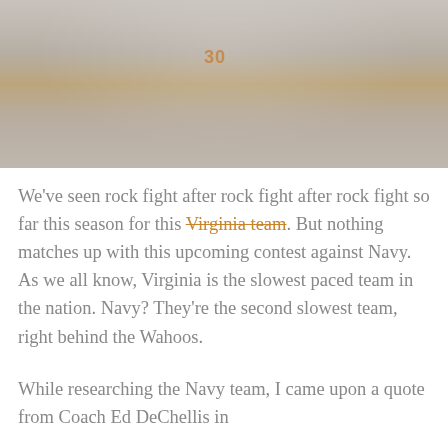[Figure (photo): Basketball player wearing jersey number 30 in white uniform, jumping or dribbling on a basketball court with crowd in the background. The image has a faded/washed-out appearance with orange/brown tones.]
We've seen rock fight after rock fight after rock fight so far this season for this Virginia team. But nothing matches up with this upcoming contest against Navy. As we all know, Virginia is the slowest paced team in the nation. Navy? They're the second slowest team, right behind the Wahoos.
While researching the Navy team, I came upon a quote from Coach Ed DeChellis in an article in the Annapolis-based Capital Gazette...